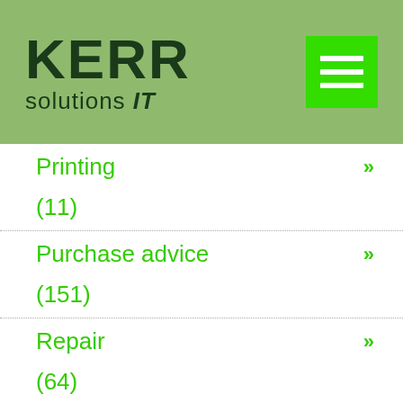KERR solutions IT
Printing »
(11)
Purchase advice »
(151)
Repair »
(64)
Security »
(214)
Servers »
(85)